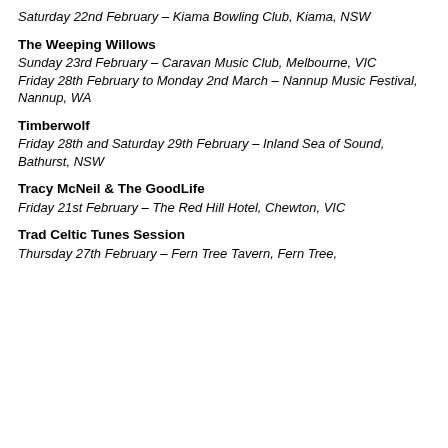Saturday 22nd February – Kiama Bowling Club, Kiama, NSW
The Weeping Willows
Sunday 23rd February – Caravan Music Club, Melbourne, VIC
Friday 28th February to Monday 2nd March – Nannup Music Festival, Nannup, WA
Timberwolf
Friday 28th and Saturday 29th February – Inland Sea of Sound, Bathurst, NSW
Tracy McNeil & The GoodLife
Friday 21st February – The Red Hill Hotel, Chewton, VIC
Trad Celtic Tunes Session
Thursday 27th February – Fern Tree Tavern, Fern Tree,